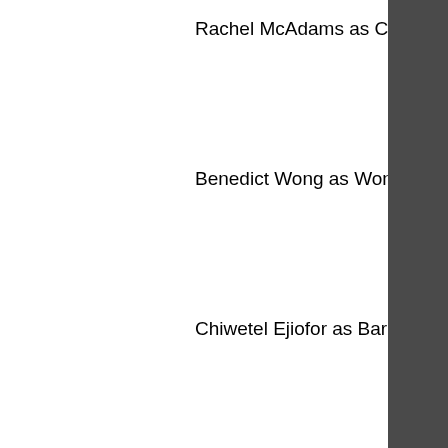Rachel McAdams as Christine Palmer
Benedict Wong as Wong
Chiwetel Ejiofor as Baron Karl Mordo
Xochitl Gomez as America Chavez
Michael Stuhlbarg as Nicodemus West
Patrick Stewart as Professor Charles Xavier
The Tom Cruise: Top Gun Maverick cast includes Tom Holland as Peter Parker/Tom Cruise: Top Gun Maverick, Zendaya as MJ,